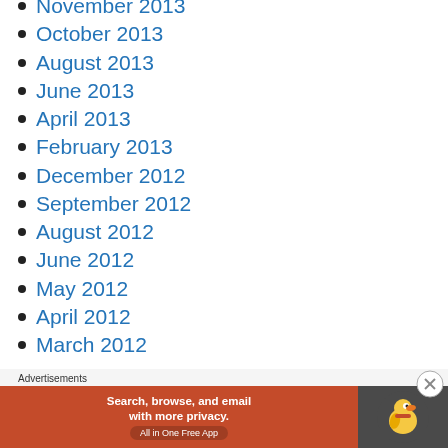November 2013
October 2013
August 2013
June 2013
April 2013
February 2013
December 2012
September 2012
August 2012
June 2012
May 2012
April 2012
March 2012
Advertisements
[Figure (screenshot): DuckDuckGo advertisement banner: Search, browse, and email with more privacy. All in One Free App. DuckDuckGo logo on dark background.]